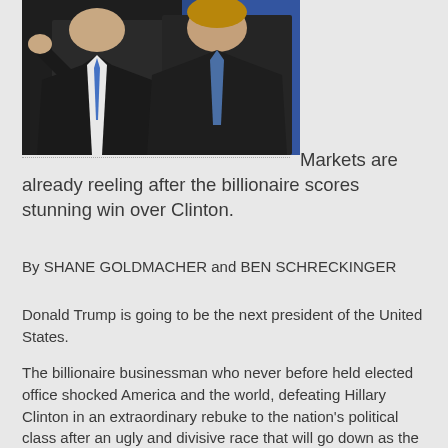[Figure (photo): Two men in dark suits, one with a blue tie, standing at what appears to be a press event with blue background]
Markets are already reeling after the billionaire scores stunning win over Clinton.
By SHANE GOLDMACHER and BEN SCHRECKINGER
Donald Trump is going to be the next president of the United States.
The billionaire businessman who never before held elected office shocked America and the world, defeating Hillary Clinton in an extraordinary rebuke to the nation's political class after an ugly and divisive race that will go down as the most stunning upset in American history.